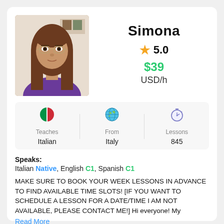[Figure (photo): Profile photo of tutor Simona — young woman with long brown hair and glasses, wearing a purple top, seated indoors]
Simona
★ 5.0
$39 USD/h
Teaches Italian | From Italy | Lessons 845
Speaks: Italian Native, English C1, Spanish C1
MAKE SURE TO BOOK YOUR WEEK LESSONS IN ADVANCE TO FIND AVAILABLE TIME SLOTS! [IF YOU WANT TO SCHEDULE A LESSON FOR A DATE/TIME I AM NOT AVAILABLE, PLEASE CONTACT ME!] Hi everyone! My
Read More